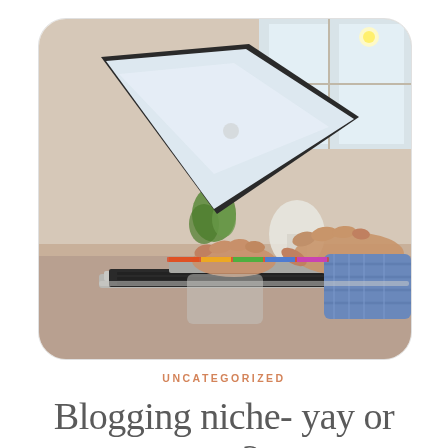[Figure (photo): A person wearing a blue plaid shirt typing on a MacBook laptop placed on a wooden desk, with a blurred background showing a window, green plant, white lamp, and a teal mug.]
UNCATEGORIZED
Blogging niche- yay or nay?